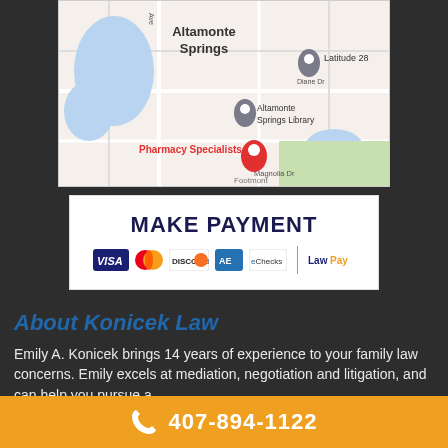[Figure (map): Google Maps screenshot showing Altamonte Springs area with landmarks including Latitude 28, Altamonte Springs Library, Pharmacy Specialists, Lake Dr, Magnolia Dr, Diane Dr, and a red location pin marker.]
[Figure (infographic): Make Payment banner with VISA, Mastercard, Discover, American Express, eChecks payment logos and LawPay branding]
About Konicek Law
Emily A. Konicek brings 14 years of experience to your family law concerns. Emily excels at mediation, negotiation and litigation, and can help you pursue a
407-894-1122